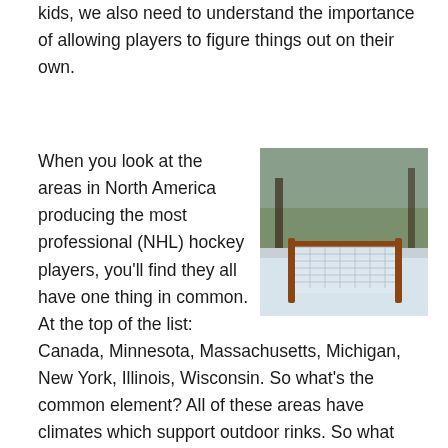kids, we also need to understand the importance of allowing players to figure things out on their own.
When you look at the areas in North America producing the most professional (NHL) hockey players, you'll find they all have one thing in common.  At the top of the list: Canada, Minnesota, Massachusetts, Michigan, New York, Illinois, Wisconsin.  So what's the common element?  All of these areas have climates which support outdoor rinks.  So what does that have to do with the number of professional skaters produced?  I believe the ability to find unstructured ice time plays an essential role in player development.  When players can lace up the
[Figure (photo): Outdoor hockey rink with a net and wooden posts visible, snow on the ground, trees in the background.]